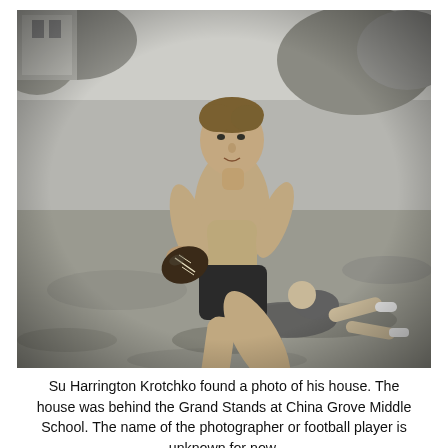[Figure (photo): Black and white vintage photograph of a shirtless young boy running with a football on a dirt field. Another player is visible on the ground behind him. Trees and a building are faintly visible in the background.]
Su Harrington Krotchko found a photo of his house. The house was behind the Grand Stands at China Grove Middle School. The name of the photographer or football player is unknown for now.